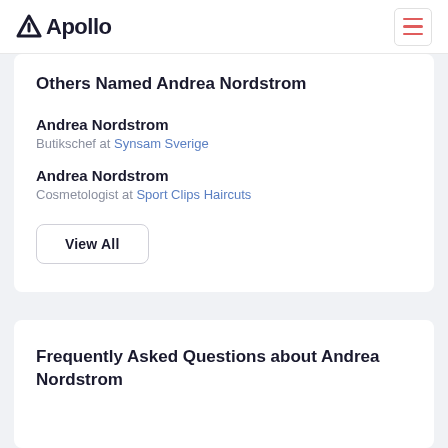Apollo
Others Named Andrea Nordstrom
Andrea Nordstrom
Butikschef at Synsam Sverige
Andrea Nordstrom
Cosmetologist at Sport Clips Haircuts
View All
Frequently Asked Questions about Andrea Nordstrom